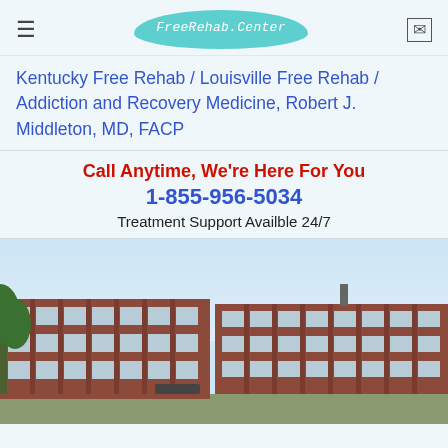FreeRehab.Center
Kentucky Free Rehab / Louisville Free Rehab / Addiction and Recovery Medicine, Robert J. Middleton, MD, FACP
Call Anytime, We're Here For You
1-855-956-5034
Treatment Support Availble 24/7
[Figure (photo): Exterior photo of a multi-story brick building with many windows, trees visible on the left side, blue sky background]